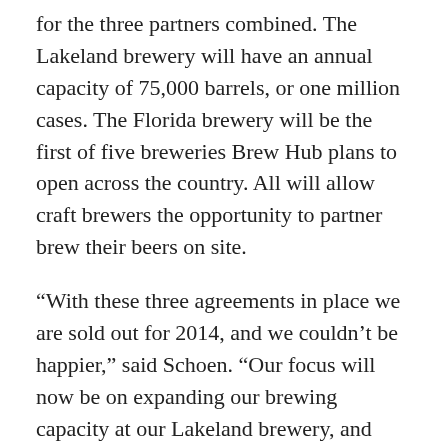for the three partners combined. The Lakeland brewery will have an annual capacity of 75,000 barrels, or one million cases. The Florida brewery will be the first of five breweries Brew Hub plans to open across the country. All will allow craft brewers the opportunity to partner brew their beers on site.
“With these three agreements in place we are sold out for 2014, and we couldn’t be happier,” said Schoen. “Our focus will now be on expanding our brewing capacity at our Lakeland brewery, and announcing the next two breweries we plan to open.”
The Lakeland brewery is located in Interstate Commerce Park off the I-4 Corridor. The brewery will also feature a 3,000-square-foot tasting room where consumers can enjoy the beers being brewed by any of Brew Hub’s partners. The site’s central location will allow the company to offer its distribution partners a less than one day’s